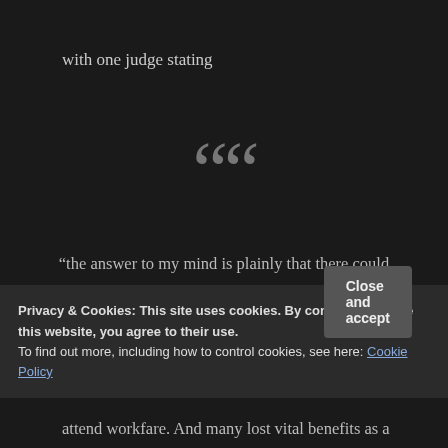with one judge stating
[Figure (illustration): Large decorative opening quotation marks in grey]
“the answer to my mind is plainly that there could be no question of sanctions being validly imposed if no proper notice of the sanction consequences was given.”
Privacy & Cookies: This site uses cookies. By continuing to use this website, you agree to their use. To find out more, including how to control cookies, see here: Cookie Policy
Close and accept
attend workfare. And many lost vital benefits as a